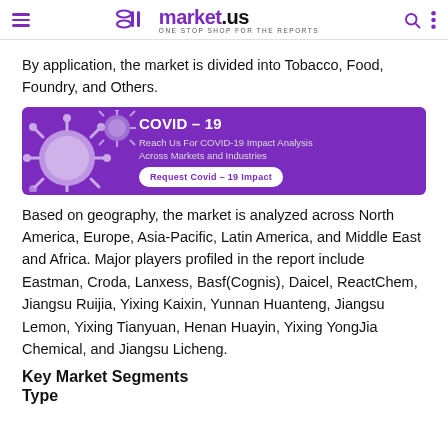market.us — ONE STOP SHOP FOR THE REPORTS
By application, the market is divided into Tobacco, Food, Foundry, and Others.
[Figure (infographic): COVID-19 banner with purple background, virus illustration on the left, and text: COVID – 19, Reach Us For COVID-19 Impact Analysis Across Markets and Industries, Request Covid – 19 Impact button]
Based on geography, the market is analyzed across North America, Europe, Asia-Pacific, Latin America, and Middle East and Africa. Major players profiled in the report include Eastman, Croda, Lanxess, Basf(Cognis), Daicel, ReactChem, Jiangsu Ruijia, Yixing Kaixin, Yunnan Huanteng, Jiangsu Lemon, Yixing Tianyuan, Henan Huayin, Yixing YongJia Chemical, and Jiangsu Licheng.
Key Market Segments
Type